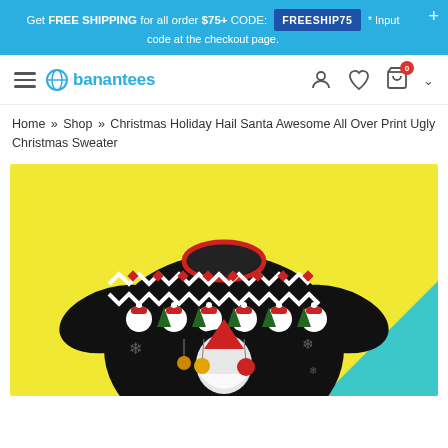Get FREE SHIPPING for all order $75+ CODE: FREESHIP75 * Input code at the checkout page.
[Figure (logo): Banantees logo with hamburger menu and navigation icons (user, heart, cart with 0 badge, chevron)]
Home » Shop » Christmas Holiday Hail Santa Awesome All Over Print Ugly Christmas Sweater
[Figure (photo): Christmas Holiday Hail Santa Awesome All Over Print Ugly Christmas Sweater product photo on yellow background with teal corner accent]